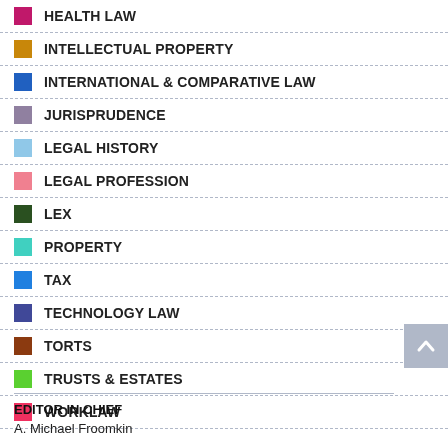HEALTH LAW
INTELLECTUAL PROPERTY
INTERNATIONAL & COMPARATIVE LAW
JURISPRUDENCE
LEGAL HISTORY
LEGAL PROFESSION
LEX
PROPERTY
TAX
TECHNOLOGY LAW
TORTS
TRUSTS & ESTATES
WORKLAW
EDITOR IN CHIEF
A. Michael Froomkin